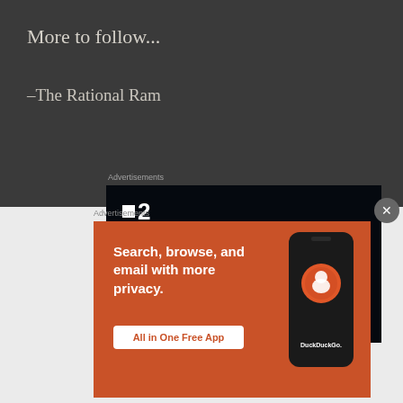More to follow...
–The Rational Ram
Advertisements
[Figure (screenshot): Dark-themed advertisement for a project management or meeting tool showing the logo '■2' and tagline 'Fewer meetings, more work.']
Advertisements
[Figure (screenshot): DuckDuckGo advertisement on orange background: 'Search, browse, and email with more privacy. All in One Free App' with phone mockup and DuckDuckGo logo.]